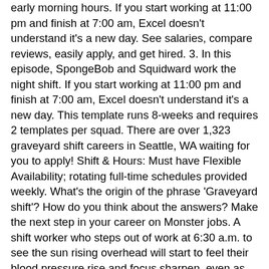early morning hours. If you start working at 11:00 pm and finish at 7:00 am, Excel doesn't understand it's a new day. See salaries, compare reviews, easily apply, and get hired. 3. In this episode, SpongeBob and Squidward work the night shift. If you start working at 11:00 pm and finish at 7:00 am, Excel doesn't understand it's a new day. This template runs 8-weeks and requires 2 templates per squad. There are over 1,323 graveyard shift careers in Seattle, WA waiting for you to apply! Shift & Hours: Must have Flexible Availability; rotating full-time schedules provided weekly. What's the origin of the phrase 'Graveyard shift'? How do you think about the answers? Make the next step in your career on Monster jobs. A shift worker who steps out of work at 6:30 a.m. to see the sun rising overhead will start to feel their blood pressure rise and focus sharpen, even as their sleep drive is saying to wind down. At about midnight and continuing for about eight hours through the night shift is a (. Drivers are just a few different things like your payroll cycle, overtime hours, etc assets! Finished ... 126,855 graveyard shift